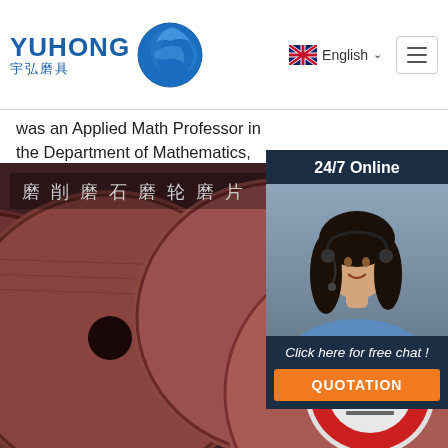YUHONG 宇弘磨具 | English
was an Applied Math Professor in the Department of Mathematics, University of California, Los Angeles. During 2006–2013, I was with the Department of Computational and Applied Mathematics at Rice University. ... CAREER award in 2008, an Alfred P. Sloan Research Fellowship in 2009, a Morningside ...
Get Price
[Figure (photo): Chat widget showing a female customer service representative with headset, '24/7 Online' header, 'Click here for free chat!' text and 'QUOTATION' orange button on dark navy background]
[Figure (photo): Product photo showing brown/dark red grinding discs/abrasive wheels stacked, with a red-label disc in the foreground and a TOP badge in the lower right]